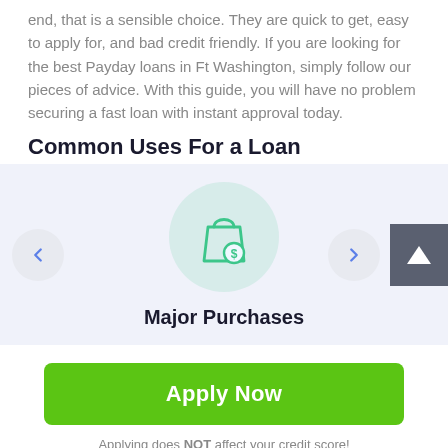end, that is a sensible choice. They are quick to get, easy to apply for, and bad credit friendly. If you are looking for the best Payday loans in Ft Washington, simply follow our pieces of advice. With this guide, you will have no problem securing a fast loan with instant approval today.
Common Uses For a Loan
[Figure (illustration): Shopping bag with dollar sign icon in a light green circle, representing Major Purchases. Left and right arrow navigation buttons on either side, and a scroll-up button on the far right.]
Major Purchases
Apply Now
Applying does NOT affect your credit score! No credit check to apply.